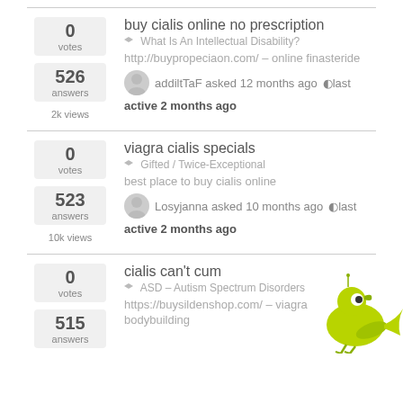buy cialis online no prescription | What Is An Intellectual Disability? | 0 votes | 526 answers | 2k views | http://buypropeciaon.com/ – online finasteride | addiltTaF asked 12 months ago last active 2 months ago
viagra cialis specials | Gifted / Twice-Exceptional | 0 votes | 523 answers | 10k views | best place to buy cialis online | Losyjanna asked 10 months ago last active 2 months ago
cialis can't cum | ASD – Autism Spectrum Disorders | 0 votes | 515 answers | https://buysildenshop.com/ – viagra bodybuilding